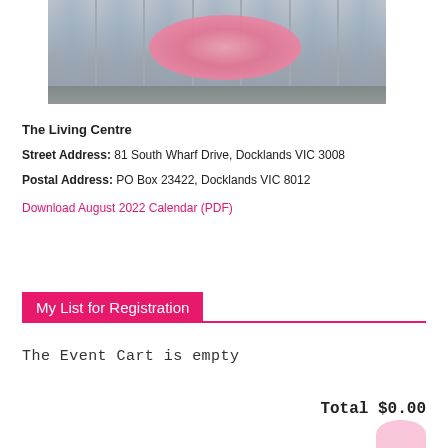[Figure (photo): Exterior photo of The Living Centre building entrance with revolving glass doors and a large pink inflatable sculpture visible through the glass]
The Living Centre
Street Address: 81 South Wharf Drive, Docklands VIC 3008
Postal Address: PO Box 23422, Docklands VIC 8012
Download August 2022 Calendar (PDF)
My List for Registration
The Event Cart is empty
Total $0.00